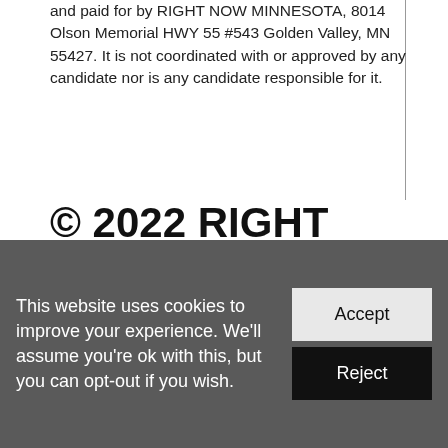and paid for by RIGHT NOW MINNESOTA, 8014 Olson Memorial HWY 55 #543 Golden Valley, MN 55427. It is not coordinated with or approved by any candidate nor is any candidate responsible for it.
© 2022 RIGHT NOW MINNESOTA
friends@rightnowmn.org
612-438-5003
This website uses cookies to improve your experience. We'll assume you're ok with this, but you can opt-out if you wish.